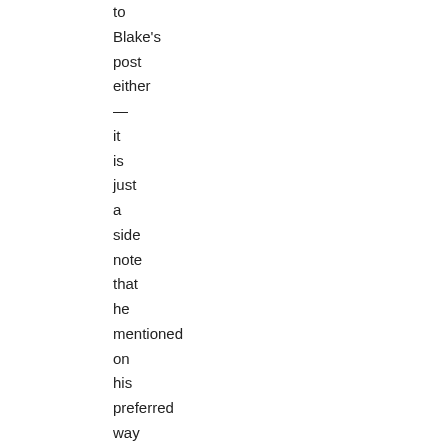to Blake's post either — it is just a side note that he mentioned on his preferred way of explaining how agent causal libertarianism probably works.